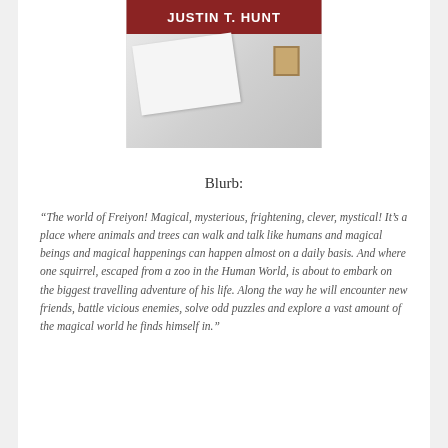[Figure (illustration): Book cover image showing author name 'JUSTIN T. HUNT' on a dark red banner at the top, with a grey envelope and stamp illustration below]
Blurb:
“The world of Freiyon! Magical, mysterious, frightening, clever, mystical! It’s a place where animals and trees can walk and talk like humans and magical beings and magical happenings can happen almost on a daily basis. And where one squirrel, escaped from a zoo in the Human World, is about to embark on the biggest travelling adventure of his life. Along the way he will encounter new friends, battle vicious enemies, solve odd puzzles and explore a vast amount of the magical world he finds himself in.”